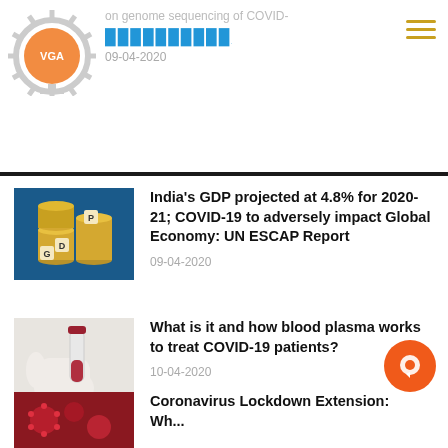on genome sequencing of COVID- [site title in local script] 09-04-2020
[Figure (illustration): Website logo: orange sun/globe with gear, text VGA]
India's GDP projected at 4.8% for 2020-21; COVID-19 to adversely impact Global Economy: UN ESCAP Report
09-04-2020
[Figure (photo): Stacked coins with letter blocks spelling GDP and P on top against blue background]
What is it and how blood plasma works to treat COVID-19 patients?
10-04-2020
[Figure (photo): Hand in white glove holding a blood sample test tube]
Coronavirus Lockdown Extension: Wh...
[Figure (photo): Red/dark coronavirus microscopic image]